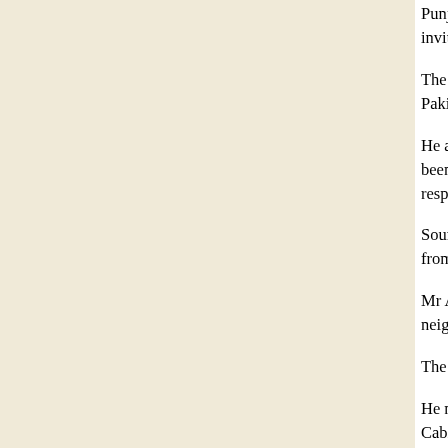Punjab Chief Minister Amarinder Singh today urged… invite Chief Minister of Pakistan's Punjab as part of…
The Chief Minister, who met Prime Minister for ab… Pakistan's Punjab by his counterpart.
He apprised the Prime Minister of a Punjabi Langu… been invited. He said he had written to the Externa… response.
Sources said the Chief Minister urged the Prime M… from Punjab to Pakistan.
Mr Amarinder Singh sought an extension of excise… neighbouring states.
The Chief Minister is expected to meet Finance Mi…
He met AICC general secretary Mohsina Kidwai in… Cabinet. Deputy Chief Minister Rajinder Kaur Bha… to the Congress high command.
I won't rest on m
Gurv
Patiala, January 21